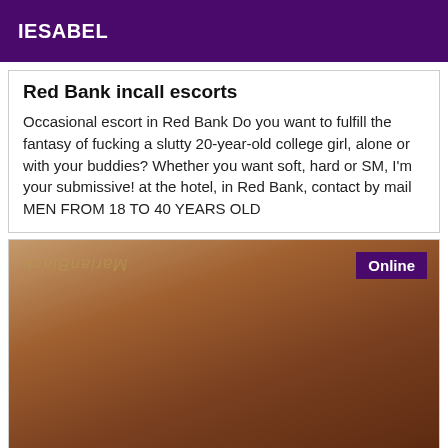IESABEL
Red Bank incall escorts
Occasional escort in Red Bank Do you want to fulfill the fantasy of fucking a slutty 20-year-old college girl, alone or with your buddies? Whether you want soft, hard or SM, I'm your submissive! at the hotel, in Red Bank, contact by mail MEN FROM 18 TO 40 YEARS OLD
[Figure (photo): Photo of a person, with an 'Online' badge in the top right corner and a watermark logo text in the top left.]